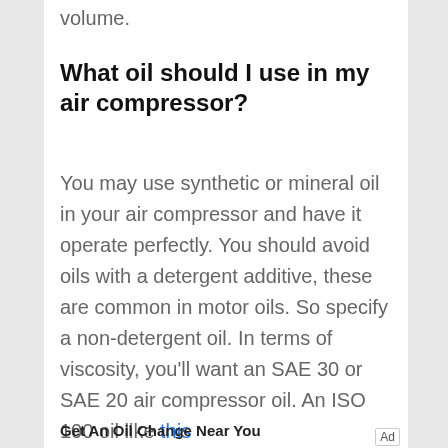volume.
What oil should I use in my air compressor?
You may use synthetic or mineral oil in your air compressor and have it operate perfectly. You should avoid oils with a detergent additive, these are common in motor oils. So specify a non-detergent oil. In terms of viscosity, you'll want an SAE 30 or SAE 20 air compressor oil. An ISO 100 oil like this
[Figure (other): Green advertisement banner with 'LEARN MORE' button and ad controls (skip/close icons). Below: 'Get An Oil Change Near You' ad text. Bottom right: 'Ad' label.]